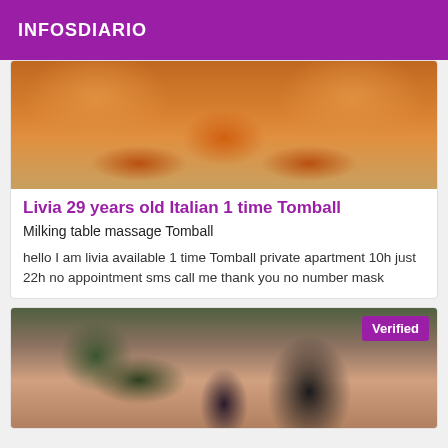INFOSDIARIO
[Figure (photo): Close-up photo of a person's legs and lower body in an orange-toned setting]
Livia 29 years old Italian 1 time Tomball
Milking table massage Tomball
hello I am livia available 1 time Tomball private apartment 10h just 22h no appointment sms call me thank you no number mask
[Figure (photo): Photo of a person in black lingerie posing, with a 'Verified' badge overlay in the top right corner]